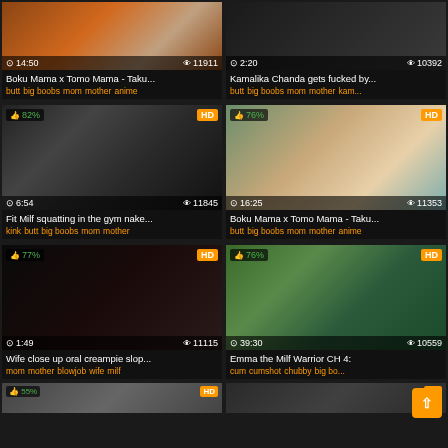[Figure (screenshot): Video thumbnail grid showing adult video website with 6 video cards in 2 columns, plus partial row at bottom]
Boku Mama x Tomo Mama - Taku...
butt big boobs mom mother anime
Kamalika Chanda gets fucked by...
butt big boobs mom mother kam...
Fit Milf squatting in the gym nake...
kink butt big boobs mom mother
Boku Mama x Tomo Mama - Taku...
butt big boobs mom mother anime
Wife close up oral creampie slop...
mom mother blowjob wife milf
Emma the Milf Warrior CH 4:
cum cumshot chubby big bo...